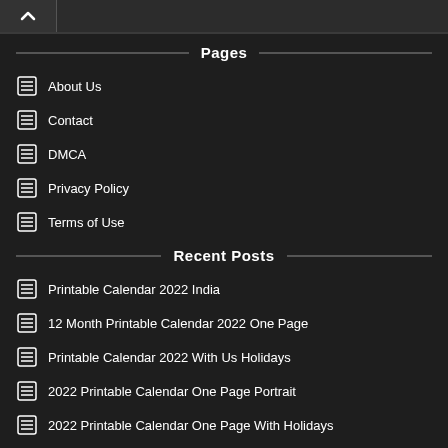^
Pages
About Us
Contact
DMCA
Privacy Policy
Terms of Use
Recent Posts
Printable Calendar 2022 India
12 Month Printable Calendar 2022 One Page
Printable Calendar 2022 With Us Holidays
2022 Printable Calendar One Page Portrait
2022 Printable Calendar One Page With Holidays